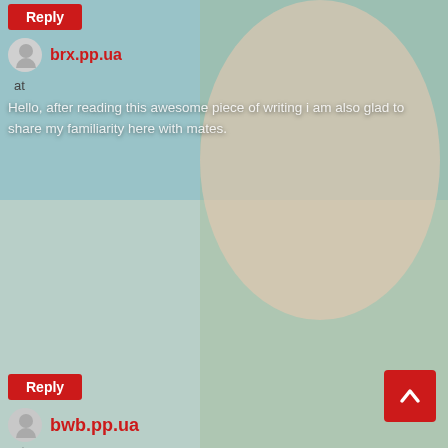[Figure (photo): Background photo of a young woman near a pool, partially unclothed, overlaid with comment UI elements]
Reply
brx.pp.ua
at
Hello, after reading this awesome piece of writing i am also glad to share my familiarity here with mates.
Reply
bwb.pp.ua
at
It's a remarkable paragraph in favor of all the internet viewers; they will get advantage from it I am sure.
Reply
http://24hd.pp.ua/
at
Hola I've been reading your weblog for some time